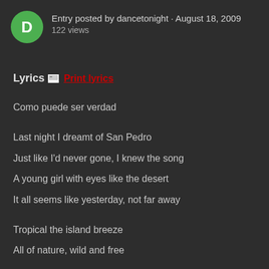Entry posted by dancetonight · August 18, 2009
122 views
Lyrics  Print lyrics
Como puede ser verdad
Last night I dreamt of San Pedro
Just like I'd never gone, I knew the song
A young girl with eyes like the desert
It all seems like yesterday, not far away
Tropical the island breeze
All of nature, wild and free